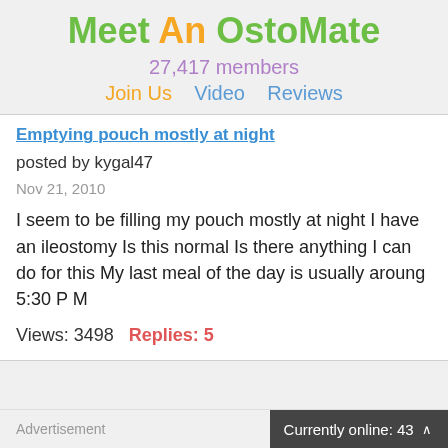Meet An OstoMate
27,417 members
Join Us   Video   Reviews
Emptying pouch mostly at night
posted by kygal47
Nov 21, 2010
I seem to be filling my pouch mostly at night  I have an ileostomy  Is this normal  Is there anything I can do for this  My last meal of the day is usually aroung 5:30 P M
Views: 3498   Replies: 5
Advertisement
Currently online: 43